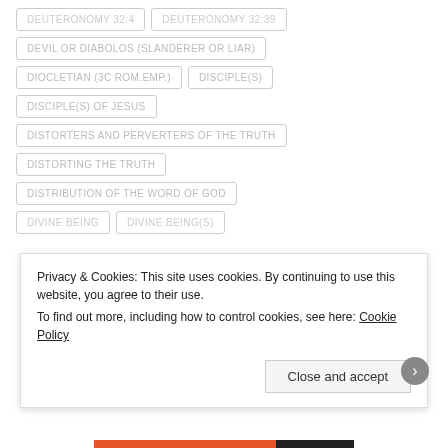DEUTERONOMY 32:4
DEUTERONOMY 32:39
DEVIL OR DIABOLOS (SLANDERER OR LIAR)
DIOCLETIAN (3C ROM.EMP.)
DISCIPLE(S)
DISCIPLE(S) OF JESUS
DISTORTERS AND PERVERTERS OF THE TRUTH
DISTORTING THE TRUTH
DISTRIBUTION OF THE WORD OF GOD
DIVINE BEING
DIVINE BEING(S)
Privacy & Cookies: This site uses cookies. By continuing to use this website, you agree to their use. To find out more, including how to control cookies, see here: Cookie Policy
Close and accept